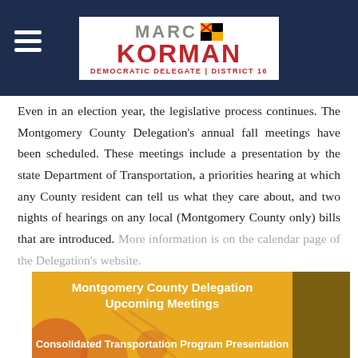MARC KORMAN — Democratic Delegate | District 16
Even in an election year, the legislative process continues. The Montgomery County Delegation's annual fall meetings have been scheduled. These meetings include a presentation by the state Department of Transportation, a priorities hearing at which any County resident can tell us what they care about, and two nights of hearings on any local (Montgomery County only) bills that are introduced. More information is on the calendar page of the Delegation's website.
[Figure (infographic): Montgomery County Delegation Upcoming Meetings banner with Consolidated Transportation Program Presentation subtitle on an orange/gold background with Maryland flag motif]
Montgomery County Delegation Upcoming Meetings
Consolidated Transportation Program Presentation